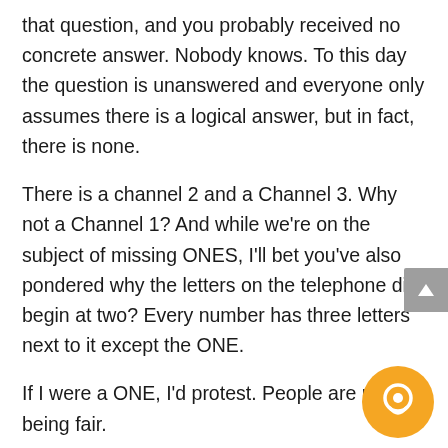that question, and you probably received no concrete answer. Nobody knows. To this day the question is unanswered and everyone only assumes there is a logical answer, but in fact, there is none.
There is a channel 2 and a Channel 3. Why not a Channel 1? And while we're on the subject of missing ONES, I'll bet you've also pondered why the letters on the telephone dial begin at two? Every number has three letters next to it except the ONE.
If I were a ONE, I'd protest. People are not being fair.